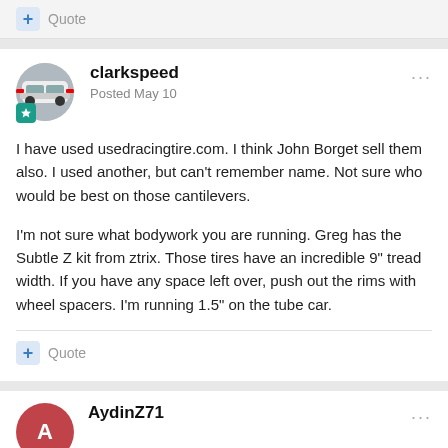+ Quote
clarkspeed
Posted May 10
I have used usedracingtire.com.  I think John Borget sell them also. I used another, but can't remember name. Not sure who would be best on those cantilevers.
I'm not sure what bodywork you are running. Greg has the Subtle Z kit from ztrix. Those tires have an incredible 9" tread width. If you have any space left over, push out the rims with wheel spacers. I'm running 1.5" on the tube car.
+ Quote
AydinZ71